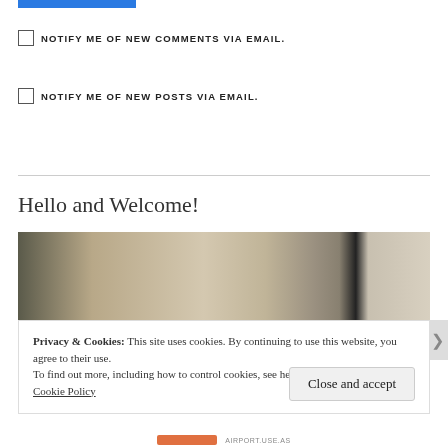[Figure (other): Blue progress bar or button at top of page]
NOTIFY ME OF NEW COMMENTS VIA EMAIL.
NOTIFY ME OF NEW POSTS VIA EMAIL.
Hello and Welcome!
[Figure (photo): Interior photo showing curtains and a doorway with natural light]
Privacy & Cookies: This site uses cookies. By continuing to use this website, you agree to their use.
To find out more, including how to control cookies, see here:
Cookie Policy
Close and accept